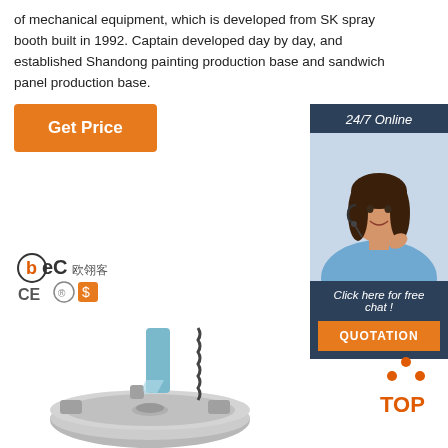of mechanical equipment, which is developed from SK spray booth built in 1992. Captain developed day by day, and established Shandong painting production base and sandwich panel production base.
[Figure (other): Orange 'Get Price' button]
[Figure (other): 24/7 Online chat widget with female agent photo wearing headset, 'Click here for free chat!' text and orange QUOTATION button]
[Figure (logo): BEC logo with CE certification marks]
[Figure (photo): Industrial spray booth turntable mechanical equipment - metallic rotating disc with spring and nozzle]
[Figure (other): TOP navigation button with orange dot pyramid icon]